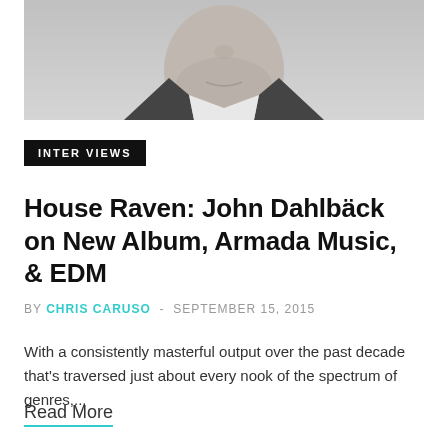[Figure (photo): Cropped photo of a man's face (lower half), with short beard, wearing a dark jacket with white collar, against a light grey background.]
INTERVIEWS
House Raven: John Dahlbäck on New Album, Armada Music, & EDM
BY CHRIS CARUSO - SEPTEMBER 15, 2015
With a consistently masterful output over the past decade that's traversed just about every nook of the spectrum of genres,...
Read More